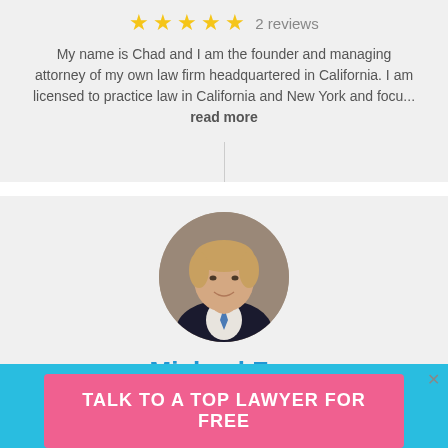[Figure (other): Five gold star rating icons]
2 reviews
My name is Chad and I am the founder and managing attorney of my own law firm headquartered in California. I am licensed to practice law in California and New York and focu... read more
[Figure (photo): Circular headshot photo of attorney Michael Fox, a middle-aged man in a dark suit with a blue tie]
Michael Fox
[Figure (other): Five gold star rating icons]
2 reviews
TALK TO A TOP LAWYER FOR FREE